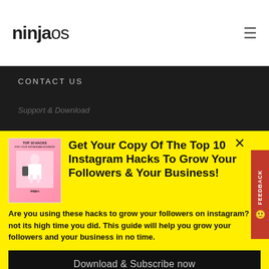ninjaos
CONTACT US
Support & Download
[Figure (other): Book cover for Top 10 Hacks for Your Instagram Business showing a woman with a phone on a pink background]
Get Your Copy Of The Top 10 Instagram Hacks To Grow Your Followers & Your Business!
Are you using these hacks to grow your followers on instagram? If not its high time you did. This guide will help you grow your followers and your business in no time.
Download & Subscribe now